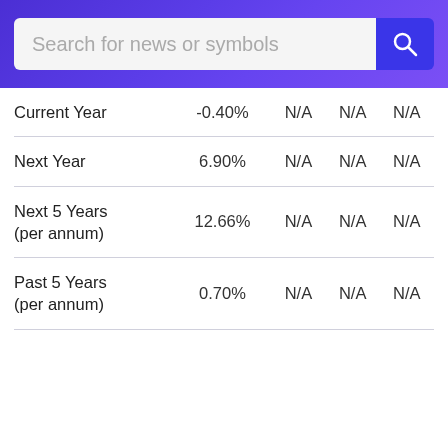Search for news or symbols
|  |  | N/A | N/A | N/A |
| --- | --- | --- | --- | --- |
| Current Year | -0.40% | N/A | N/A | N/A |
| Next Year | 6.90% | N/A | N/A | N/A |
| Next 5 Years (per annum) | 12.66% | N/A | N/A | N/A |
| Past 5 Years (per annum) | 0.70% | N/A | N/A | N/A |